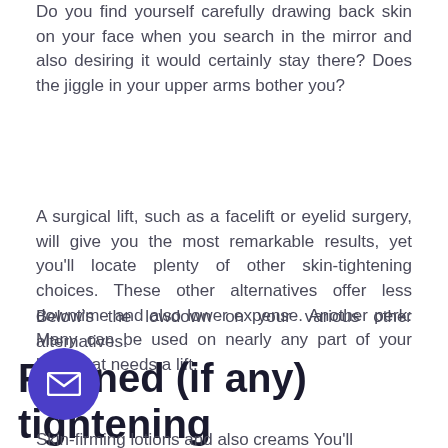Do you find yourself carefully drawing back skin on your face when you search in the mirror and also desiring it would certainly stay there? Does the jiggle in your upper arms bother you?
A surgical lift, such as a facelift or eyelid surgery, will give you the most remarkable results, yet you'll locate plenty of other skin-tightening choices. These other alternatives offer less downtime and also lower expense. Another perk: Many can be used on nearly any part of your body that needs a lift.
Below's the lowdown on your various other alternatives.
Refined (if any) tightening
Skin-firming lotions and also creams You'll